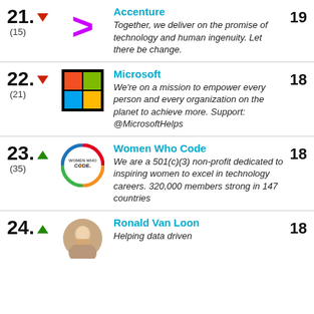21. (down) (15) Accenture — Together, we deliver on the promise of technology and human ingenuity. Let there be change. Score: 19
22. (down) (21) Microsoft — We're on a mission to empower every person and every organization on the planet to achieve more. Support: @MicrosoftHelps Score: 18
23. (up) (35) Women Who Code — We are a 501(c)(3) non-profit dedicated to inspiring women to excel in technology careers. 320,000 members strong in 147 countries Score: 18
24. (up) Ronald Van Loon — Helping data driven Score: 18